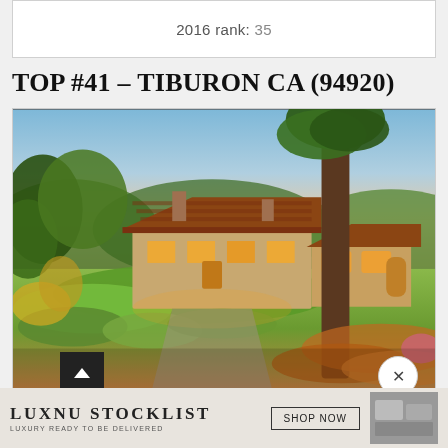2016 rank: 35
TOP #41 – TIBURON CA (94920)
[Figure (photo): Luxury estate home in Tiburon CA at dusk, showing a Mediterranean-style house with tile roof, surrounded by large redwood trees, lush garden landscaping with green lawns, warm interior lighting, and a twilight sky with blue and pink hues.]
LUXNU STOCKLIST LUXURY READY TO BE DELIVERED
SHOP NOW